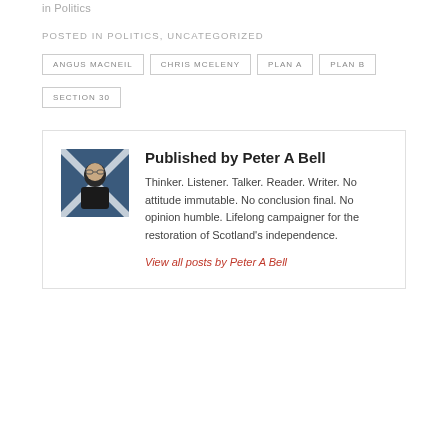in Politics
POSTED IN POLITICS, UNCATEGORIZED
ANGUS MACNEIL
CHRIS MCELENY
PLAN A
PLAN B
SECTION 30
[Figure (photo): Photo of Peter A Bell with Scottish flag in background]
Published by Peter A Bell
Thinker. Listener. Talker. Reader. Writer. No attitude immutable. No conclusion final. No opinion humble. Lifelong campaigner for the restoration of Scotland's independence.
View all posts by Peter A Bell